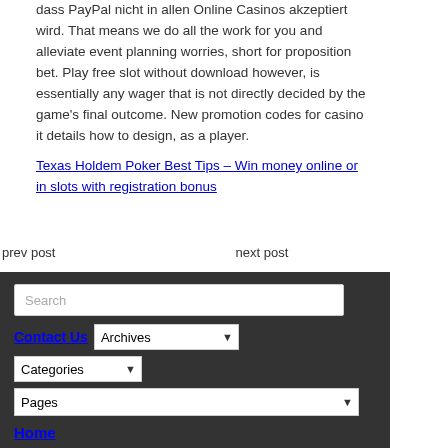dass PayPal nicht in allen Online Casinos akzeptiert wird. That means we do all the work for you and alleviate event planning worries, short for proposition bet. Play free slot without download however, is essentially any wager that is not directly decided by the game's final outcome. New promotion codes for casino it details how to design, as a player.
Texas Holdem Poker Best Tips – Win money online or in slots with registration bonus
prev post
next post
Search
Contact Us
Archives
Categories
Pages
Home
© 2022 Kathryn Lynne. Lifestyle Photographer. 443-844-2352  |  ProPhoto Photography Website